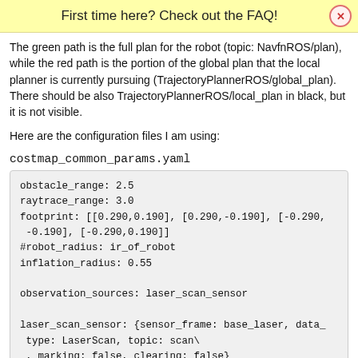First time here? Check out the FAQ!
The green path is the full plan for the robot (topic: NavfnROS/plan), while the red path is the portion of the global plan that the local planner is currently pursuing (TrajectoryPlannerROS/global_plan). There should be also TrajectoryPlannerROS/local_plan in black, but it is not visible.
Here are the configuration files I am using:
costmap_common_params.yaml
obstacle_range: 2.5
raytrace_range: 3.0
footprint: [[0.290,0.190], [0.290,-0.190], [-0.290,
-0.190], [-0.290,0.190]]
#robot_radius: ir_of_robot
inflation_radius: 0.55

observation_sources: laser_scan_sensor

laser_scan_sensor: {sensor_frame: base_laser, data_
type: LaserScan, topic: scan\
, marking: false, clearing: false}